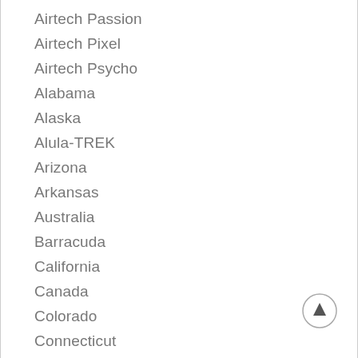Airtech Passion
Airtech Pixel
Airtech Psycho
Alabama
Alaska
Alula-TREK
Arizona
Arkansas
Australia
Barracuda
California
Canada
Colorado
Connecticut
Contests
DAW Mustang
Erwin 5
Event News